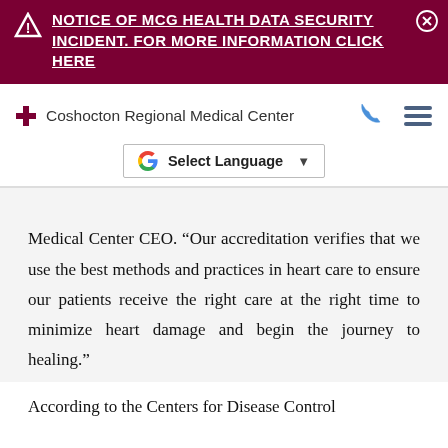⚠ NOTICE OF MCG HEALTH DATA SECURITY INCIDENT. FOR MORE INFORMATION CLICK HERE
[Figure (logo): Coshocton Regional Medical Center logo with red cross and text, plus phone and hamburger menu icons]
[Figure (screenshot): Google Translate Select Language widget button]
Medical Center CEO. “Our accreditation verifies that we use the best methods and practices in heart care to ensure our patients receive the right care at the right time to minimize heart damage and begin the journey to healing.”
According to the Centers for Disease Control